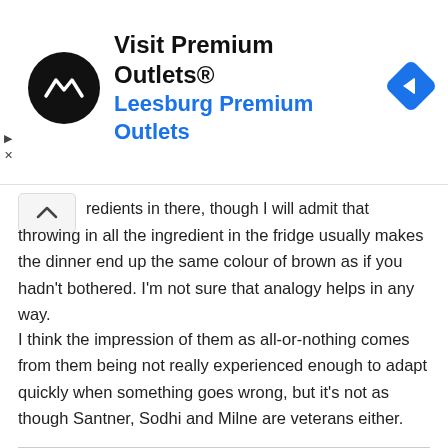[Figure (screenshot): Advertisement banner for 'Visit Premium Outlets® Leesburg Premium Outlets' with a black circular logo with arrow icon on the left, text in the center, and a blue diamond navigation icon on the right. Small play and X controls on the far left.]
redients in there, though I will admit that throwing in all the ingredient in the fridge usually makes the dinner end up the same colour of brown as if you hadn't bothered. I'm not sure that analogy helps in any way.
I think the impression of them as all-or-nothing comes from them being not really experienced enough to adapt quickly when something goes wrong, but it's not as though Santner, Sodhi and Milne are veterans either.